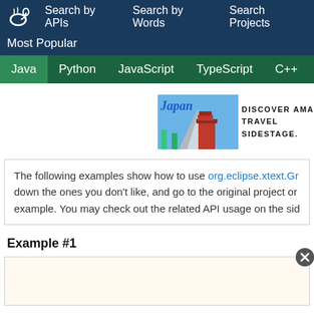Search by APIs  Search by Words  Search Projects
Most Popular
Java  Python  JavaScript  TypeScript  C++  Scala
[Figure (photo): Japan travel advertisement banner with photo of pagoda and mountain, text: DISCOVER AMA... TRAVEL... SIDESTAGE.]
The following examples show how to use org.eclipse.xtext.Gr... down the ones you don't like, and go to the original project or... example. You may check out the related API usage on the sid...
Example #1